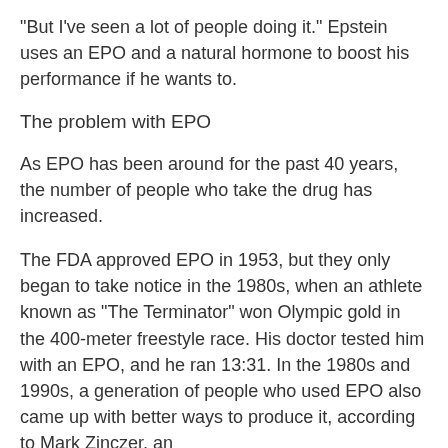"But I've seen a lot of people doing it." Epstein uses an EPO and a natural hormone to boost his performance if he wants to.
The problem with EPO
As EPO has been around for the past 40 years, the number of people who take the drug has increased.
The FDA approved EPO in 1953, but they only began to take notice in the 1980s, when an athlete known as "The Terminator" won Olympic gold in the 400-meter freestyle race. His doctor tested him with an EPO, and he ran 13:31. In the 1980s and 1990s, a generation of people who used EPO also came up with better ways to produce it, according to Mark Zinczer, an
Similar articles:
http://...